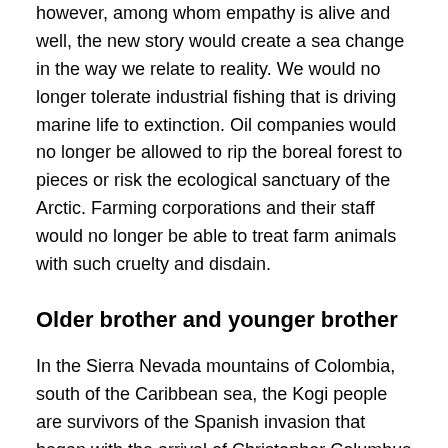however, among whom empathy is alive and well, the new story would create a sea change in the way we relate to reality. We would no longer tolerate industrial fishing that is driving marine life to extinction. Oil companies would no longer be allowed to rip the boreal forest to pieces or risk the ecological sanctuary of the Arctic. Farming corporations and their staff would no longer be able to treat farm animals with such cruelty and disdain.
Older brother and younger brother
In the Sierra Nevada mountains of Colombia, south of the Caribbean sea, the Kogi people are survivors of the Spanish invasion that began with the arrival of Christopher Columbus in 1492. They understand that Earth is a living being, and that all existence is permeated with spirit (or as we might say, consciousness). They believe it is their